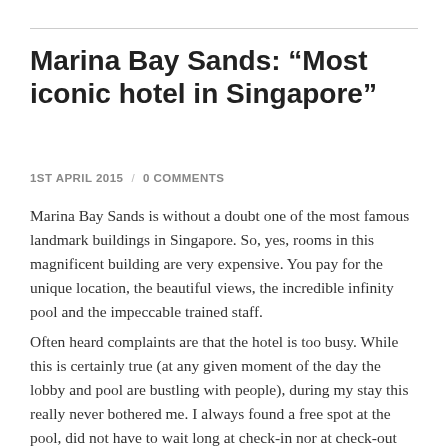Marina Bay Sands: “Most iconic hotel in Singapore”
1ST APRIL 2015 / 0 COMMENTS
Marina Bay Sands is without a doubt one of the most famous landmark buildings in Singapore. So, yes, rooms in this magnificent building are very expensive. You pay for the unique location, the beautiful views, the incredible infinity pool and the impeccable trained staff.
Often heard complaints are that the hotel is too busy. While this is certainly true (at any given moment of the day the lobby and pool are bustling with people), during my stay this really never bothered me. I always found a free spot at the pool, did not have to wait long at check-in nor at check-out and we always got seated at